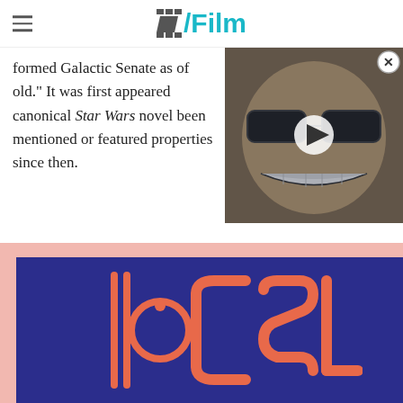/Film
formed Galactic Senate as of old." It was first appeared canonical Star Wars novel been mentioned or featured properties since then.
[Figure (screenshot): Video overlay thumbnail showing a comic-book style illustration of a person with glasses, with a play button in the center. An X close button is in the top right corner.]
[Figure (photo): Photo of a dark blue sign/poster with a coral/salmon colored logo showing a stylized symbol followed by the text 'CSL', on a pink/light red background.]